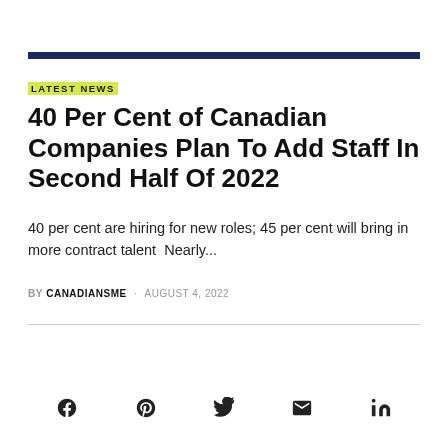LATEST NEWS
40 Per Cent of Canadian Companies Plan To Add Staff In Second Half Of 2022
40 per cent are hiring for new roles; 45 per cent will bring in more contract talent  Nearly...
BY CANADIANSME · AUGUST 4, 2022